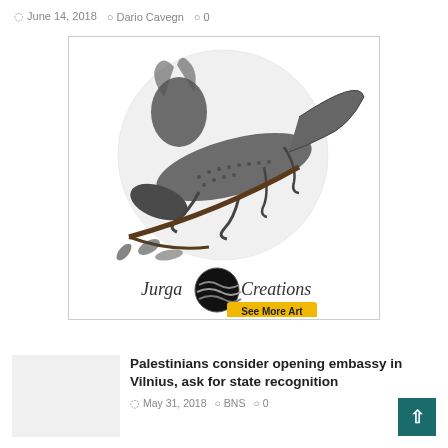June 14, 2018  Dario Cavegn  0
[Figure (illustration): Black and white pencil illustration of a lizard/skink on a branch with plants, inside a circular composition. Below is a logo reading 'Jurga Creations' with a yarn ball icon and a yellow button 'See More Art'.]
[Figure (photo): Thumbnail image placeholder (light gray rectangle)]
Palestinians consider opening embassy in Vilnius, ask for state recognition
May 31, 2018  BNS  0